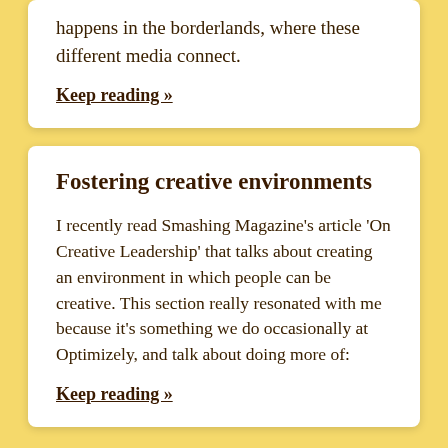happens in the borderlands, where these different media connect.
Keep reading »
Fostering creative environments
I recently read Smashing Magazine's article 'On Creative Leadership' that talks about creating an environment in which people can be creative. This section really resonated with me because it's something we do occasionally at Optimizely, and talk about doing more of:
Keep reading »